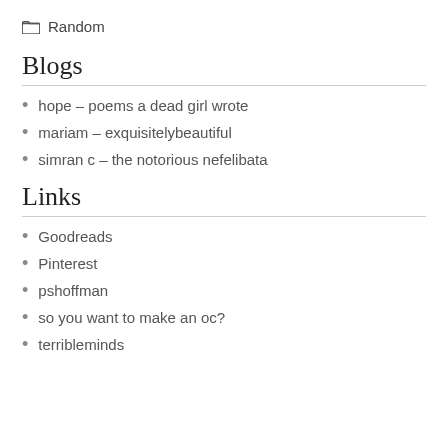Random
Blogs
hope – poems a dead girl wrote
mariam – exquisitelybeautiful
simran c – the notorious nefelibata
Links
Goodreads
Pinterest
pshoffman
so you want to make an oc?
terribleminds